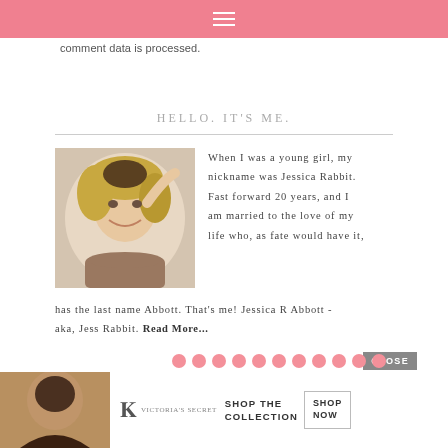≡
comment data is processed.
HELLO. IT'S ME.
[Figure (photo): Smiling blonde woman in brown top with hand raised to head]
When I was a young girl, my nickname was Jessica Rabbit. Fast forward 20 years, and I am married to the love of my life who, as fate would have it, has the last name Abbott. That's me! Jessica R Abbott - aka, Jess Rabbit. Read More...
[Figure (screenshot): Victoria's Secret advertisement - SHOP THE COLLECTION / SHOP NOW banner with woman photo]